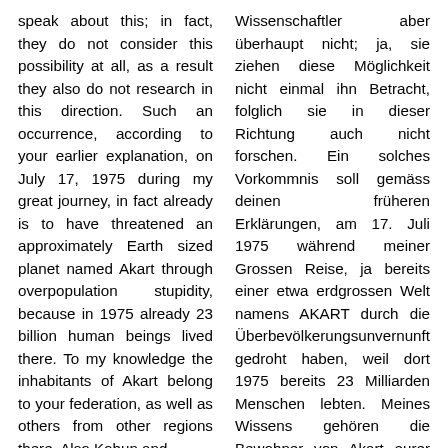speak about this; in fact, they do not consider this possibility at all, as a result they also do not research in this direction. Such an occurrence, according to your earlier explanation, on July 17, 1975 during my great journey, in fact already is to have threatened an approximately Earth sized planet named Akart through overpopulation stupidity, because in 1975 already 23 billion human beings lived there. To my knowledge the inhabitants of Akart belong to your federation, as well as others from other regions there. Also Kohun and
Wissenschaftler aber überhaupt nicht; ja, sie ziehen diese Möglichkeit nicht einmal ihn Betracht, folglich sie in dieser Richtung auch nicht forschen. Ein solches Vorkommnis soll gemäss deinen früheren Erklärungen, am 17. Juli 1975 während meiner Grossen Reise, ja bereits einer etwa erdgrossen Welt namens AKART durch die Überbevölkerungsunvernunft gedroht haben, weil dort 1975 bereits 23 Milliarden Menschen lebten. Meines Wissens gehören die Bewohner von Akart eurer Föderation an, wie auch andere aus anderen dortigen Gebieten. Auch Kohun und Athar.